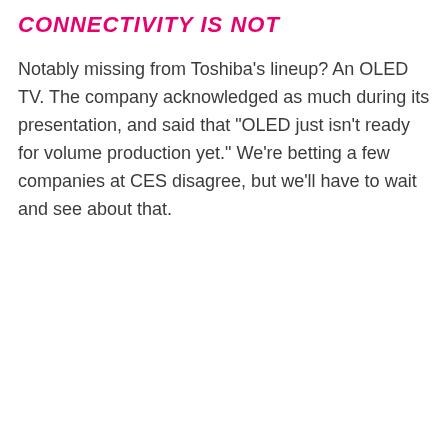CONNECTIVITY IS NOT
Notably missing from Toshiba's lineup? An OLED TV. The company acknowledged as much during its presentation, and said that "OLED just isn't ready for volume production yet." We're betting a few companies at CES disagree, but we'll have to wait and see about that.